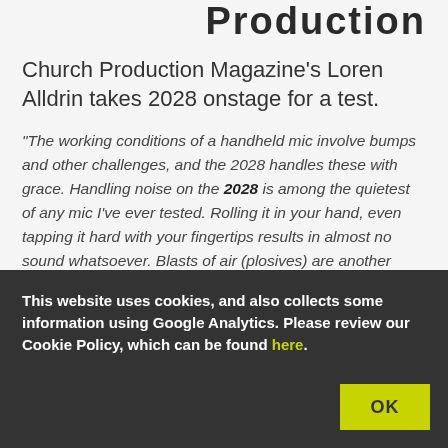Production
Church Production Magazine's Loren Alldrin takes 2028 onstage for a test.
"The working conditions of a handheld mic involve bumps and other challenges, and the 2028 handles these with grace. Handling noise on the 2028 is among the quietest of any mic I've ever tested. Rolling it in your hand, even tapping it hard with your fingertips results in almost no sound whatsoever. Blasts of air (plosives) are another
This website uses cookies, and also collects some information using Google Analytics. Please review our Cookie Policy, which can be found here.
OK